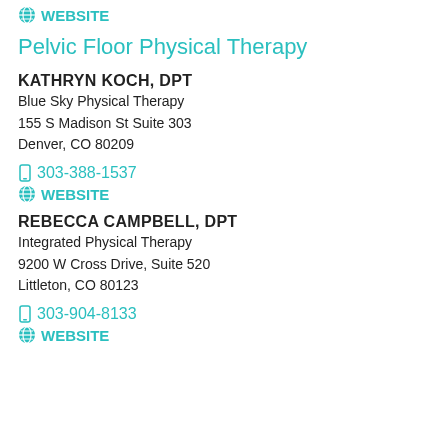WEBSITE
Pelvic Floor Physical Therapy
KATHRYN KOCH, DPT
Blue Sky Physical Therapy
155 S Madison St Suite 303
Denver, CO 80209
303-388-1537
WEBSITE
REBECCA CAMPBELL, DPT
Integrated Physical Therapy
9200 W Cross Drive, Suite 520
Littleton, CO 80123
303-904-8133
WEBSITE